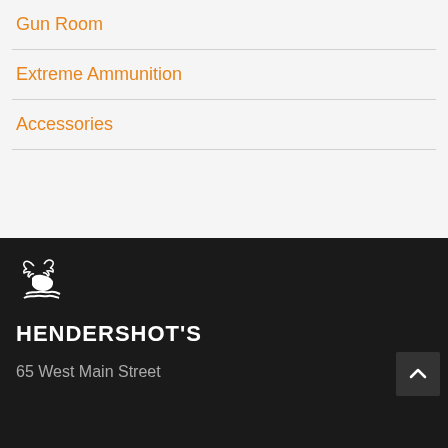Gun Room
Extreme Ammunition
Accessories
[Figure (logo): Hendershot's logo with stylized deer/antler graphic above the text HENDERSHOT'S in white on dark background]
65 West Main Street